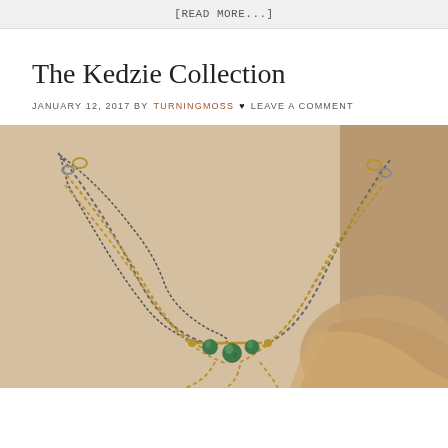[READ MORE...]
The Kedzie Collection
JANUARY 12, 2017 BY TURNINGMOSS ♥ LEAVE A COMMENT
[Figure (photo): A layered necklace with gold and dark silver chains featuring green stone beads, photographed against a warm brown fabric background.]